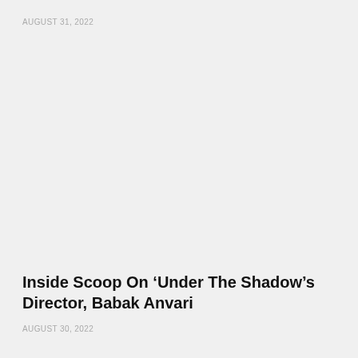AUGUST 31, 2022
Inside Scoop On ‘Under The Shadow’s Director, Babak Anvari
AUGUST 30, 2022